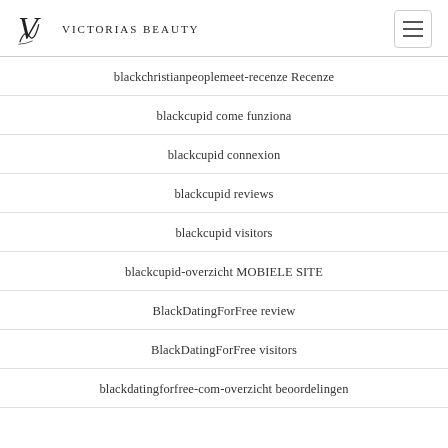Victorias Beauty
blackchristianpeoplemeet-recenze Recenze
blackcupid come funziona
blackcupid connexion
blackcupid reviews
blackcupid visitors
blackcupid-overzicht MOBIELE SITE
BlackDatingForFree review
BlackDatingForFree visitors
blackdatingforfree-com-overzicht beoordelingen